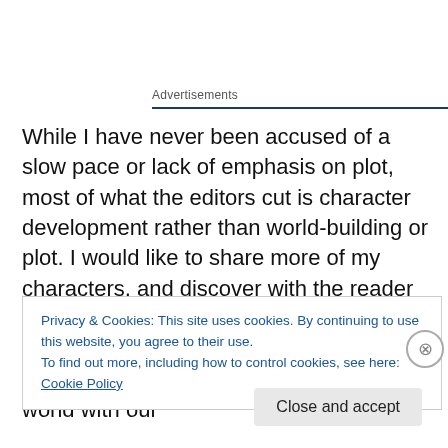Advertisements
While I have never been accused of a slow pace or lack of emphasis on plot, most of what the editors cut is character development rather than world-building or plot. I would like to share more of my characters, and discover with the reader their multifaceted personalities.

But this does not work in our fast-paced world with our
Privacy & Cookies: This site uses cookies. By continuing to use this website, you agree to their use.
To find out more, including how to control cookies, see here: Cookie Policy
Close and accept